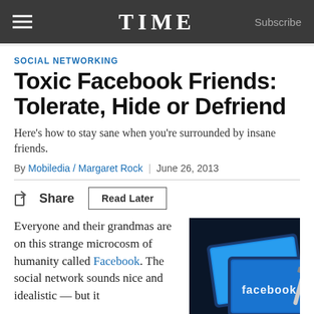TIME  Subscribe
SOCIAL NETWORKING
Toxic Facebook Friends: Tolerate, Hide or Defriend
Here's how to stay sane when you're surrounded by insane friends.
By Mobiledia / Margaret Rock  |  June 26, 2013
Share  Read Later
Everyone and their grandmas are on this strange microcosm of humanity called Facebook. The social network sounds nice and idealistic — but it
[Figure (photo): Photo of Facebook app on tablet devices with blue Facebook logo visible]